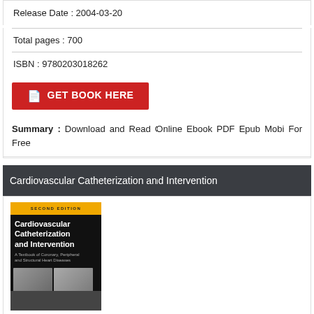Release Date : 2004-03-20
Total pages : 700
ISBN : 9780203018262
[Figure (other): Red button labeled GET BOOK HERE with document icon]
Summary : Download and Read Online Ebook PDF Epub Mobi For Free
Cardiovascular Catheterization and Intervention
[Figure (photo): Book cover for Cardiovascular Catheterization and Intervention, Second Edition. A Textbook of Coronary, Peripheral and Structural Heart Diseases. Black cover with gold bar at top, white title text, subtitle in gray, and medical imaging photos at bottom.]